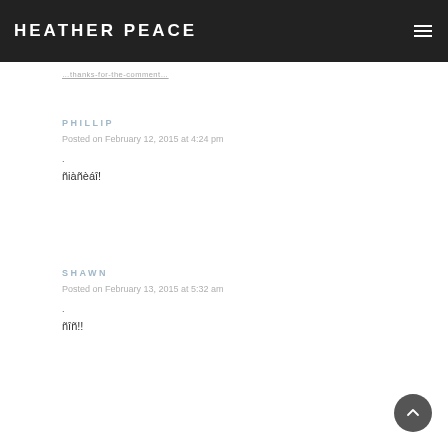HEATHER PEACE
…thanks-for-the-comment…
PHILLIP
Posted on February 12, 2015 at 4:24 pm
.
ñiàñèáî!
SHAWN
Posted on February 13, 2015 at 5:32 am
.
ñîñ!!